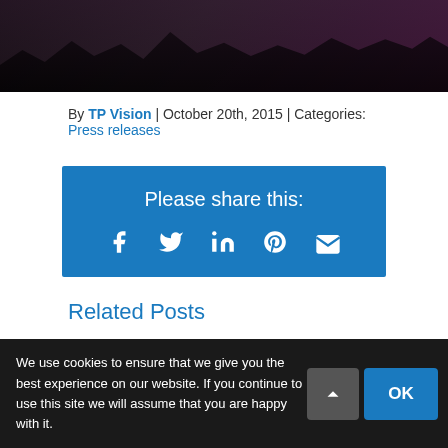[Figure (photo): Dark photo strip showing silhouettes of people at an outdoor event at night]
By TP Vision | October 20th, 2015 | Categories: Press releases
[Figure (infographic): Blue share box with text 'Please share this:' and social media icons: Facebook, Twitter, LinkedIn, Pinterest, Email]
Related Posts
We use cookies to ensure that we give you the best experience on our website. If you continue to use this site we will assume that you are happy with it.